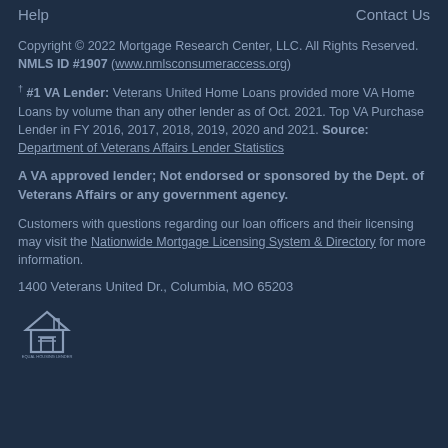Help | Contact Us
Copyright © 2022 Mortgage Research Center, LLC. All Rights Reserved. NMLS ID #1907 (www.nmlsconsumeraccess.org)
† #1 VA Lender: Veterans United Home Loans provided more VA Home Loans by volume than any other lender as of Oct. 2021. Top VA Purchase Lender in FY 2016, 2017, 2018, 2019, 2020 and 2021. Source: Department of Veterans Affairs Lender Statistics
A VA approved lender; Not endorsed or sponsored by the Dept. of Veterans Affairs or any government agency.
Customers with questions regarding our loan officers and their licensing may visit the Nationwide Mortgage Licensing System & Directory for more information.
1400 Veterans United Dr., Columbia, MO 65203
[Figure (logo): Equal Housing Lender logo — a house icon with 'EQUAL HOUSING LENDER' text below]